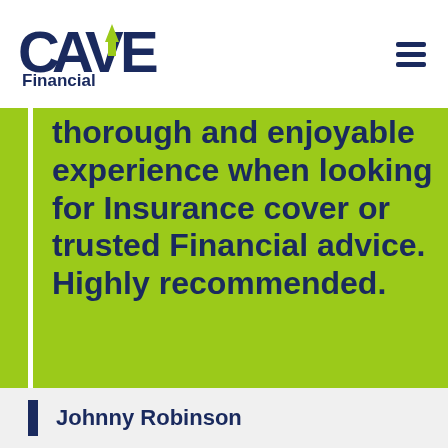[Figure (logo): CAVE Financial logo with green upward arrow on the V and navy blue text]
thorough and enjoyable experience when looking for Insurance cover or trusted Financial advice. Highly recommended.
Johnny Robinson